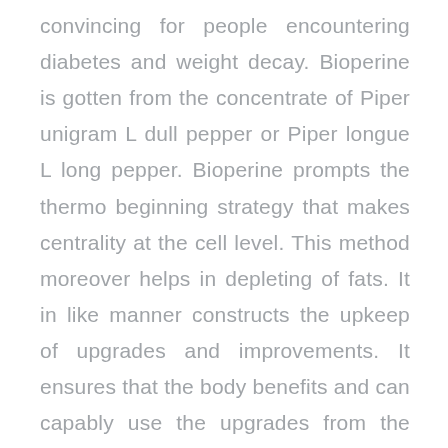convincing for people encountering diabetes and weight decay. Bioperine is gotten from the concentrate of Piper unigram L dull pepper or Piper longue L long pepper. Bioperine prompts the thermo beginning strategy that makes centrality at the cell level. This method moreover helps in depleting of fats. It in like manner constructs the upkeep of upgrades and improvements. It ensures that the body benefits and can capably use the upgrades from the food. It furthermore